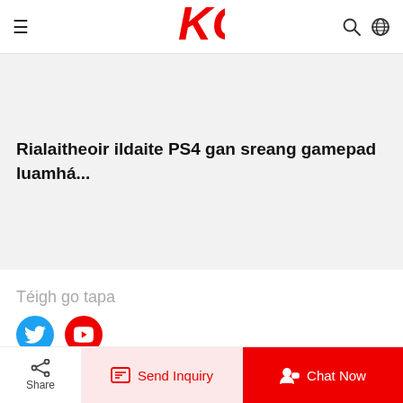Kingway Industry Co., Ltd. — KG logo header with hamburger menu, search and globe icons
Rialaitheoir ildaite PS4 gan sreang gamepad luamhá...
Téigh go tapa
[Figure (logo): Twitter bird icon (blue circle)]
[Figure (logo): YouTube play icon (red circle)]
Copyright © 2022 Kingway Industry Co., Ltd. - www.kingway-game.com All Rights Reserved.
Share
Send Inquiry
Chat Now